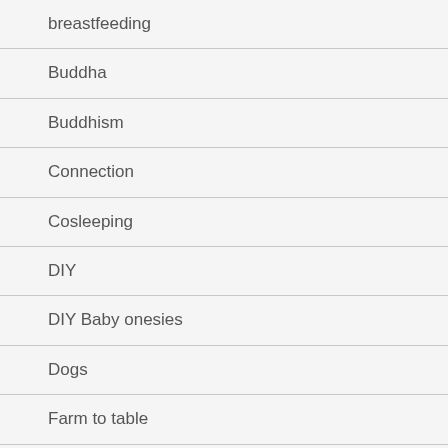breastfeeding
Buddha
Buddhism
Connection
Cosleeping
DIY
DIY Baby onesies
Dogs
Farm to table